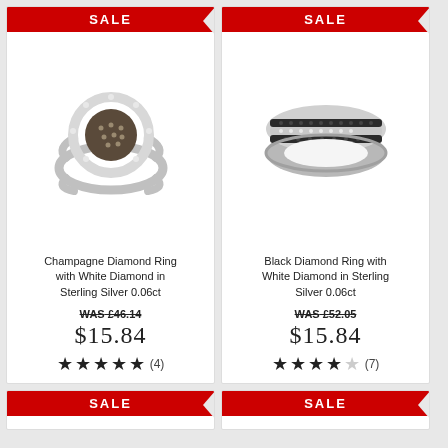[Figure (photo): Champagne Diamond Ring with White Diamond in Sterling Silver, round cluster with halo setting]
Champagne Diamond Ring with White Diamond in Sterling Silver 0.06ct
WAS £46.14
$15.84
★★★★★ (4)
[Figure (photo): Black Diamond Ring with White Diamond in Sterling Silver, wide band with three rows of black and white diamonds]
Black Diamond Ring with White Diamond in Sterling Silver 0.06ct
WAS £52.05
$15.84
★★★★☆ (7)